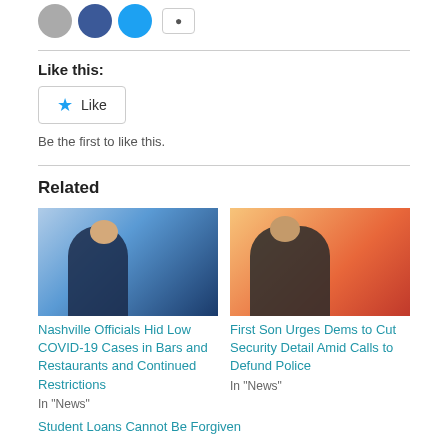[Figure (other): Social sharing icons: gray circle, blue Facebook circle, teal Twitter circle, and a share button]
Like this:
[Figure (other): Like button with blue star icon]
Be the first to like this.
Related
[Figure (photo): Man in dark suit at podium with mask, blue background]
Nashville Officials Hid Low COVID-19 Cases in Bars and Restaurants and Continued Restrictions
In "News"
[Figure (photo): Man in dark suit speaking into microphone, orange and red background]
First Son Urges Dems to Cut Security Detail Amid Calls to Defund Police
In "News"
Student Loans Cannot Be Forgiven